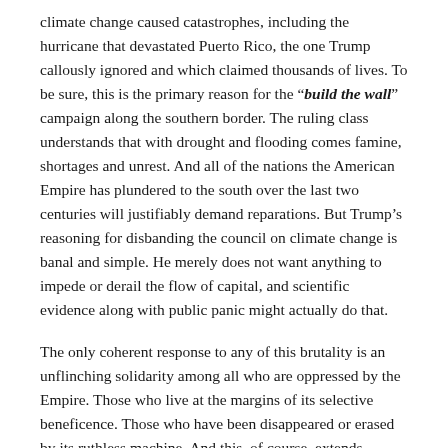climate change caused catastrophes, including the hurricane that devastated Puerto Rico, the one Trump callously ignored and which claimed thousands of lives. To be sure, this is the primary reason for the "build the wall" campaign along the southern border. The ruling class understands that with drought and flooding comes famine, shortages and unrest. And all of the nations the American Empire has plundered to the south over the last two centuries will justifiably demand reparations. But Trump's reasoning for disbanding the council on climate change is banal and simple. He merely does not want anything to impede or derail the flow of capital, and scientific evidence along with public panic might actually do that.
The only coherent response to any of this brutality is an unflinching solidarity among all who are oppressed by the Empire. Those who live at the margins of its selective beneficence. Those who have been disappeared or erased by its ruthless machine. And this, of course, extends beyond the artificial borders that it maintains. This solidarity must take the form of building communities of resistance and resilience that go beyond our personal or group identities. They must be about our status as an underclass within a ruthless global socioeconomic order bent on the rampant destruction of the biosphere for